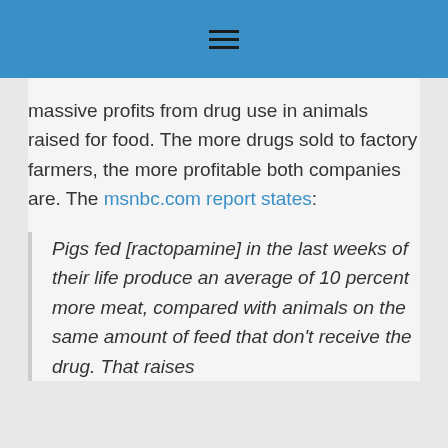≡
massive profits from drug use in animals raised for food. The more drugs sold to factory farmers, the more profitable both companies are. The msnbc.com report states:
Pigs fed [ractopamine] in the last weeks of their life produce an average of 10 percent more meat, compared with animals on the same amount of feed that don't receive the drug. That raises